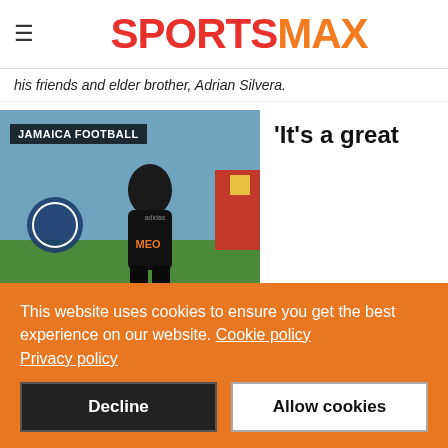SPORTSMAX
his friends and elder brother, Adrian Silvera.
[Figure (photo): A soccer player in a black jersey leaning forward, with a JAMAICA FOOTBALL tag overlay]
'It's a great
This website uses cookies to ensure you get the best experience on our website. Cookie policy Privacy policy
Decline
Allow cookies